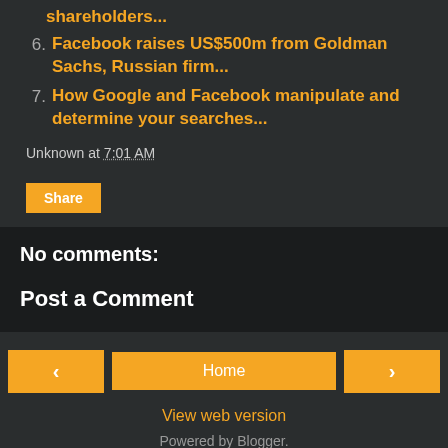shareholders...
6. Facebook raises US$500m from Goldman Sachs, Russian firm...
7. How Google and Facebook manipulate and determine your searches...
Unknown at 7:01 AM
Share
No comments:
Post a Comment
< Home > View web version Powered by Blogger.